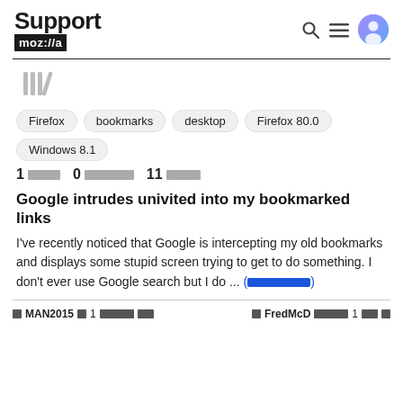Support mozilla
Firefox  bookmarks  desktop  Firefox 80.0  Windows 8.1
1 [redacted]  0 [redacted]  11 [redacted]
Google intrudes univited into my bookmarked links
I've recently noticed that Google is intercepting my old bookmarks and displays some stupid screen trying to get to do something. I don't ever use Google search but I do ... (read more)
MAN2015 [redacted] 1 [redacted]   FredMcD [redacted] 1 [redacted]